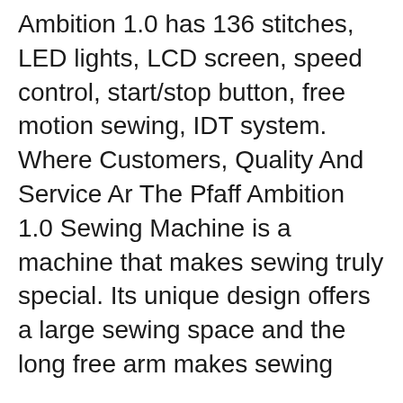Ambition 1.0 has 136 stitches, LED lights, LCD screen, speed control, start/stop button, free motion sewing, IDT system. Where Customers, Quality And Service Ar The Pfaff Ambition 1.0 Sewing Machine is a machine that makes sewing truly special. Its unique design offers a large sewing space and the long free arm makes sewing
Sewing Machine Pfaff Ambition 1.0 special sale, safe and quick delivery at low costs by SewShop. Find great deals on eBay for pfaff ambition 2.0. Shop with confidence.
Pfaff ambition 1.0 buttonholer doesn't work The machine makes a buttonhole,